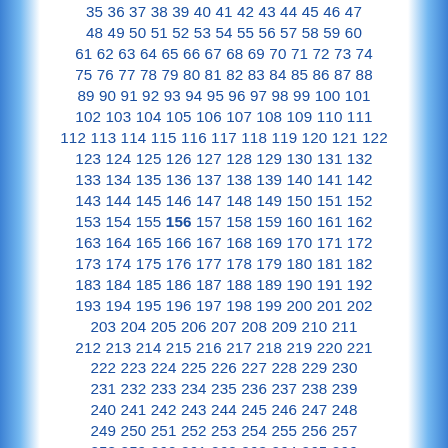35 36 37 38 39 40 41 42 43 44 45 46 47 48 49 50 51 52 53 54 55 56 57 58 59 60 61 62 63 64 65 66 67 68 69 70 71 72 73 74 75 76 77 78 79 80 81 82 83 84 85 86 87 88 89 90 91 92 93 94 95 96 97 98 99 100 101 102 103 104 105 106 107 108 109 110 111 112 113 114 115 116 117 118 119 120 121 122 123 124 125 126 127 128 129 130 131 132 133 134 135 136 137 138 139 140 141 142 143 144 145 146 147 148 149 150 151 152 153 154 155 156 157 158 159 160 161 162 163 164 165 166 167 168 169 170 171 172 173 174 175 176 177 178 179 180 181 182 183 184 185 186 187 188 189 190 191 192 193 194 195 196 197 198 199 200 201 202 203 204 205 206 207 208 209 210 211 212 213 214 215 216 217 218 219 220 221 222 223 224 225 226 227 228 229 230 231 232 233 234 235 236 237 238 239 240 241 242 243 244 245 246 247 248 249 250 251 252 253 254 255 256 257 258 259 260 261 262 263 264 265 266